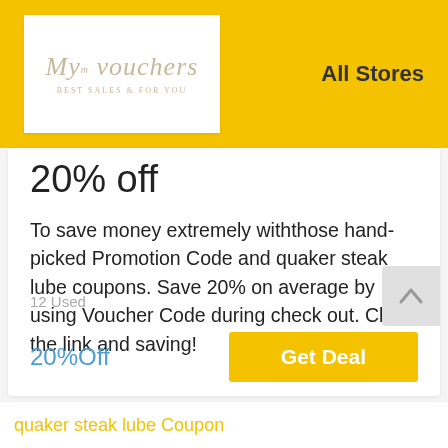[Figure (logo): My Vouchers logo - cursive text with tagline 'BEST SALES & FOR YOU']
All Stores
20% off
To save money extremely withthose hand-picked Promotion Code and quaker steak lube coupons. Save 20% on average by using Voucher Code during check out. Click the link and saving!
12 Used
20%Off
Get Deal
quaker steak lube Coupon